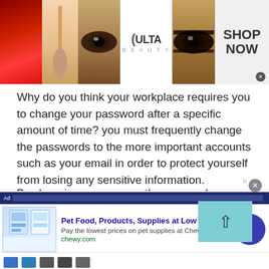[Figure (illustration): Top banner advertisement for Ulta Beauty showing makeup photos (lips, brush, eye), Ulta Beauty logo in center, and SHOP NOW call-to-action on the right]
Why do you think your workplace requires you to change your password after a specific amount of time? you must frequently change the passwords to the more important accounts such as your email in order to protect yourself from losing any sensitive information.
By changing your account's password regularly, the chance of your account being accessed is reduced. Just to be sure, set a reminder for 90 days on your phone or calendar and change your password frequently. This will
[Figure (screenshot): Bottom advertisement for Chewy.com: Pet Food, Products, Supplies at Low Prices - Pay the lowest prices on pet supplies at Chewy.com with a blue circular arrow button and product thumbnails]